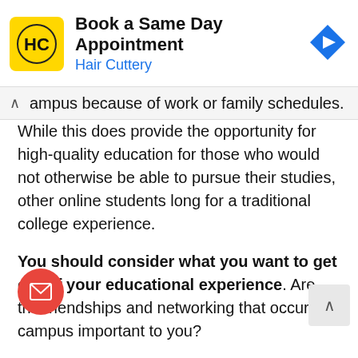[Figure (screenshot): Hair Cuttery advertisement banner: yellow square logo with HC text, 'Book a Same Day Appointment' title in bold, 'Hair Cuttery' subtitle in blue, blue diamond navigation arrow icon on right]
ampus because of work or family schedules.
While this does provide the opportunity for high-quality education for those who would not otherwise be able to pursue their studies, other online students long for a traditional college experience.
You should consider what you want to get out of your educational experience. Are the friendships and networking that occur on campus important to you?
If [you] may wish to seek out night classes other flexible on-campus options.